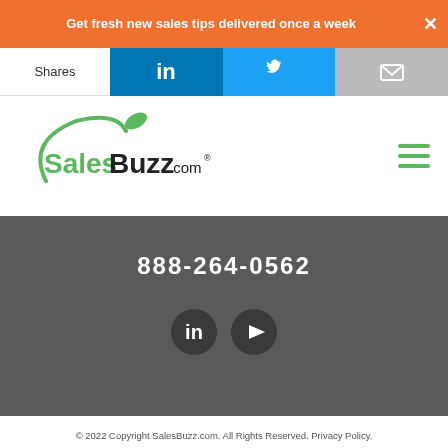Get fresh new sales tips delivered once a week
[Figure (other): Share bar with LinkedIn, Twitter, and email icons, with Shares label on left]
[Figure (logo): SalesBuzz.com logo with rocket and hamburger menu icon]
888-264-0562
[Figure (other): LinkedIn and YouTube social media circular icons in dark gray]
© 2022 Copyright SalesBuzz.com. All Rights Reserved. Privacy Policy.